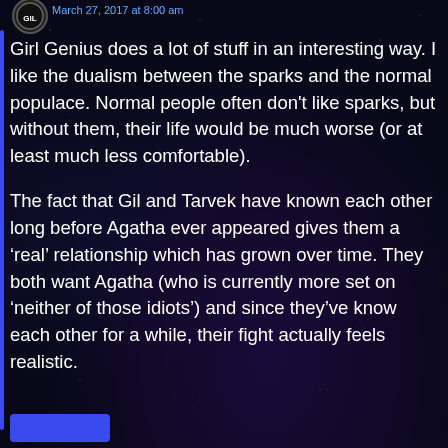March 27, 2017 at 8:00 am
Girl Genius does a lot of stuff in an interesting way. I like the dualism between the sparks and the normal populace. Normal people often don't like sparks, but without them, their life would be much worse (or at least much less comfortable).
The fact that Gil and Tarvek have known each other long before Agatha ever appeared gives them a ‘real’ relationship which has grown over time. They both want Agatha (who is currently more set on ‘neither of those idiots’) and since they’ve know each other for a while, their fight actually feels realistic.